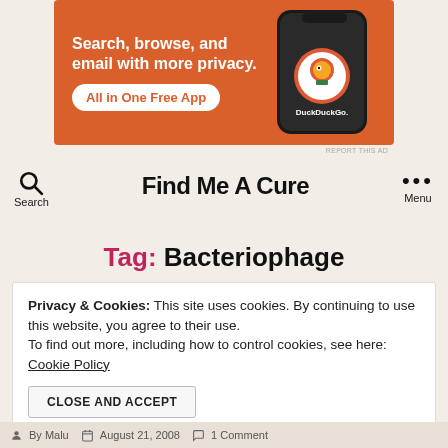[Figure (infographic): DuckDuckGo advertisement banner with orange background. Text: 'Search, browse, and email with more privacy. All in One Free App' with a phone showing DuckDuckGo logo.]
Find Me A Cure
Tag: Bacteriophage
Privacy & Cookies: This site uses cookies. By continuing to use this website, you agree to their use. To find out more, including how to control cookies, see here: Cookie Policy
CLOSE AND ACCEPT
By Malu | August 21, 2008 | 1 Comment